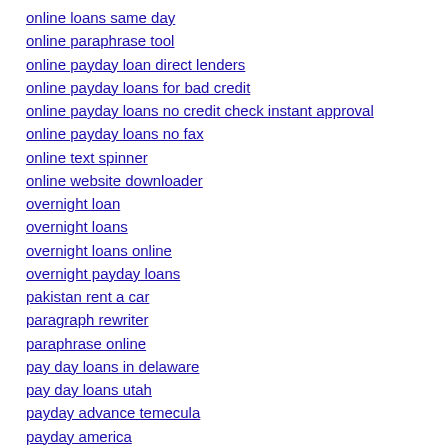online loans same day
online paraphrase tool
online payday loan direct lenders
online payday loans for bad credit
online payday loans no credit check instant approval
online payday loans no fax
online text spinner
online website downloader
overnight loan
overnight loans
overnight loans online
overnight payday loans
pakistan rent a car
paragraph rewriter
paraphrase online
pay day loans in delaware
pay day loans utah
payday advance temecula
payday america